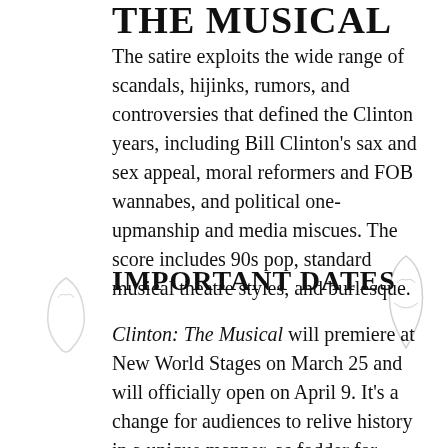THE MUSICAL
The satire exploits the wide range of scandals, hijinks, rumors, and controversies that defined the Clinton years, including Bill Clinton's sax and sex appeal, moral reformers and FOB wannabes, and political one-upmanship and media miscues. The score includes 90s pop, standard musical theatre styles, and burlesque.
IMPORTANT DATES
Clinton: The Musical will premiere at New World Stages on March 25 and will officially open on April 9. It's a change for audiences to relive history in a unique manner, as fodder for satire in a musical comedy.